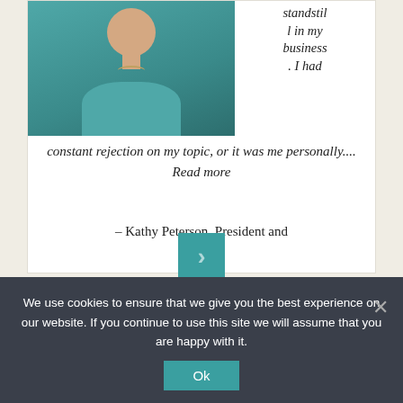[Figure (photo): Photo of a woman in a teal/blue top]
standstill in my business. I had constant rejection on my topic, or it was me personally.... Read more
– Kathy Peterson, President and
[Figure (illustration): Large teal opening quotation marks icon]
We use cookies to ensure that we give you the best experience on our website. If you continue to use this site we will assume that you are happy with it.